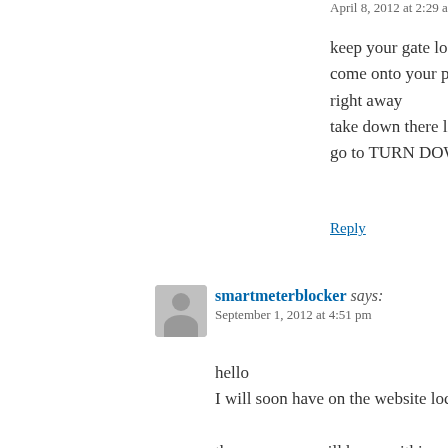April 8, 2012 at 2:29 am
keep your gate locked and don't let them come onto your property tell them they have to leave right away
take down there lic number Just a few go to TURN DOWN SMART METE
Reply
smartmeterblocker says:
September 1, 2012 at 4:51 pm
hello
I will soon have on the website locks for your
the new pages will be up within a few weeks.
thank you keep up the good work
Reply